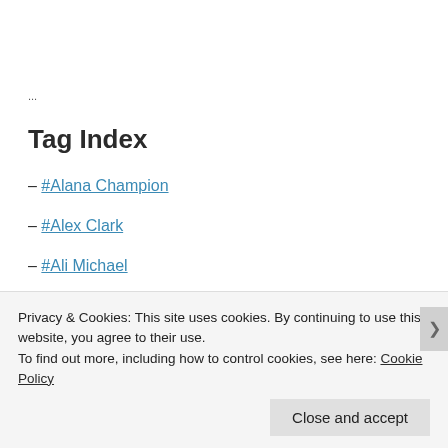…
Tag Index
– #Alana Champion
– #Alex Clark
– #Ali Michael
Privacy & Cookies: This site uses cookies. By continuing to use this website, you agree to their use.
To find out more, including how to control cookies, see here: Cookie Policy
Close and accept